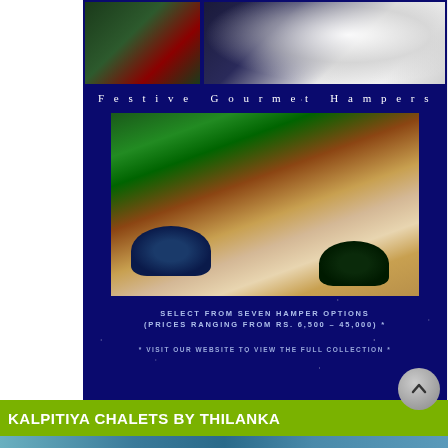[Figure (photo): Top image collage on dark blue background — left shows dark green Christmas foliage with red berries, right shows white decorative tree branches with white flowers against dark background]
Festive Gourmet Hampers
[Figure (photo): Main hamper photo: two wicker gift hampers wrapped in cellophane with navy/teal and dark green satin ribbon bows, decorated with red berries, in front of a Christmas tree with gold ornaments]
SELECT FROM SEVEN HAMPER OPTIONS (PRICES RANGING FROM RS. 6,500 – 45,000) *
* VISIT OUR WEBSITE TO VIEW THE FULL COLLECTION *
KALPITIYA CHALETS BY THILANKA
[Figure (photo): Bottom strip showing a partial image — turquoise/teal water scene]